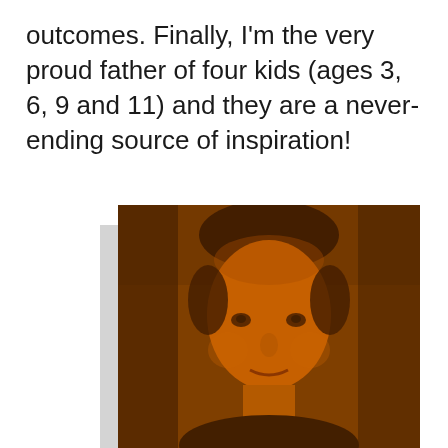outcomes. Finally, I'm the very proud father of four kids (ages 3, 6, 9 and 11) and they are a never-ending source of inspiration!
[Figure (photo): Portrait photo of a middle-aged man with short dark hair, smiling slightly, with an orange/amber color overlay applied to the image. Background is dark brownish-orange.]